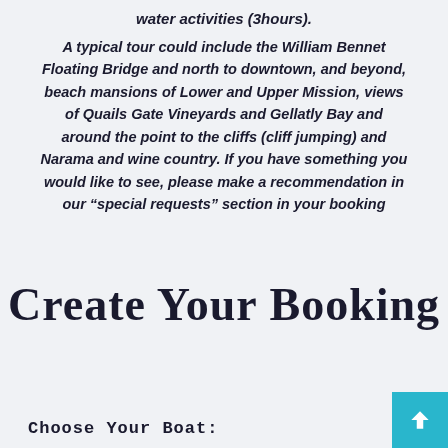water activities (3hours).
A typical tour could include the William Bennet Floating Bridge and north to downtown, and beyond, beach mansions of Lower and Upper Mission, views of Quails Gate Vineyards and Gellatly Bay and around the point to the cliffs (cliff jumping) and Narama and wine country. If you have something you would like to see, please make a recommendation in our “special requests” section in your booking
Create your booking
Choose Your Boat: